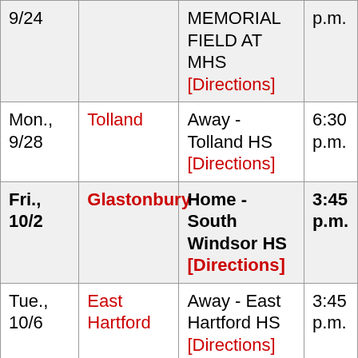| Date | Opponent | Location | Time |
| --- | --- | --- | --- |
| 9/24 |  | MEMORIAL FIELD AT MHS [Directions] | p.m. |
| Mon., 9/28 | Tolland | Away - Tolland HS [Directions] | 6:30 p.m. |
| Fri., 10/2 | Glastonbury | Home - South Windsor HS [Directions] | 3:45 p.m. |
| Tue., 10/6 | East Hartford | Away - East Hartford HS [Directions] | 3:45 p.m. |
| Sat. | East | Away - East | 12:30 |